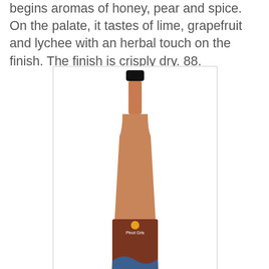begins aromas of honey, pear and spice. On the palate, it tastes of lime, grapefruit and lychee with an herbal touch on the finish. The finish is crisply dry. 88.
[Figure (photo): A wine bottle with a salmon/rose-colored label reading 'Pinot Gris' with decorative wave artwork, Rocky Creek Winery branding at the bottom.]
Rocky Creek Winery Pinot Gris 2015 ($20). A short amount of skin time has given a pale salmon hue and accentuated the fruity aromas.  On the nose, there are notes of peach, ripe pear and ripe apple. It has tangy citrus flavours and a crisp, dry finish. 88.
[Figure (photo): Partial view of another wine bottle, showing just the top portion (capsule and neck) against a light background.]